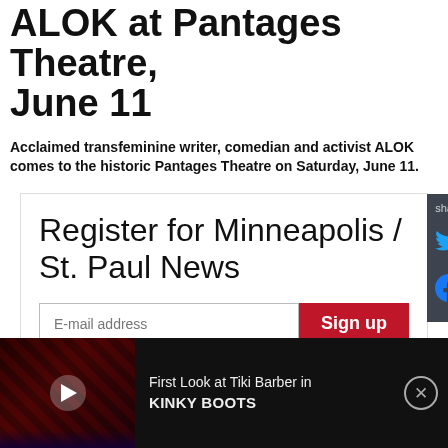ALOK at Pantages Theatre, June 11
Acclaimed transfeminine writer, comedian and activist ALOK comes to the historic Pantages Theatre on Saturday, June 11.
Register for Minneapolis / St. Paul News
E-mail address
Sign up
Get local news, offers & more...
[Figure (screenshot): Video thumbnail showing a dark theatrical stage scene with red lighting, with a play button overlay. Text reads: First Look at Tiki Barber in KINKY BOOTS]